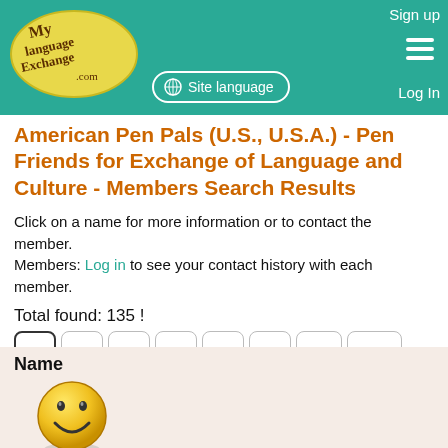[Figure (logo): MyLanguageExchange.com logo — yellow oval with handwritten-style text]
Sign up  Site language  Log In
American Pen Pals (U.S., U.S.A.) - Pen Friends for Exchange of Language and Culture - Members Search Results
Click on a name for more information or to contact the member.
Members: Log in to see your contact history with each member.
Total found: 135 !
Pagination: 1  2  3  4  5  6  14  →
| Name |
| --- |
[Figure (illustration): Yellow smiley face emoji — 'Waiting for picture' placeholder]
Waiting for picture